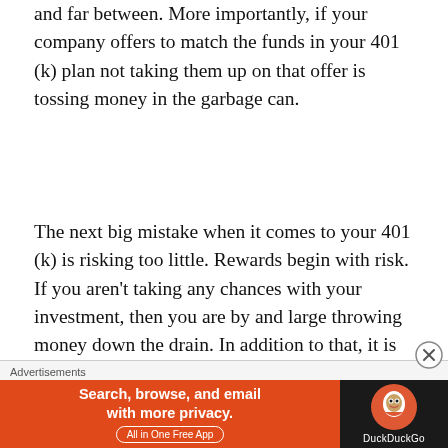and far between. More importantly, if your company offers to match the funds in your 401 (k) plan not taking them up on that offer is tossing money in the garbage can.
The next big mistake when it comes to your 401 (k) is risking too little. Rewards begin with risk. If you aren't taking any chances with your investment, then you are by and large throwing money down the drain. In addition to that, it is nearly impossible to meet your
[Figure (other): DuckDuckGo advertisement banner: orange left panel with text 'Search, browse, and email with more privacy. All in One Free App' and dark right panel with DuckDuckGo duck logo and brand name.]